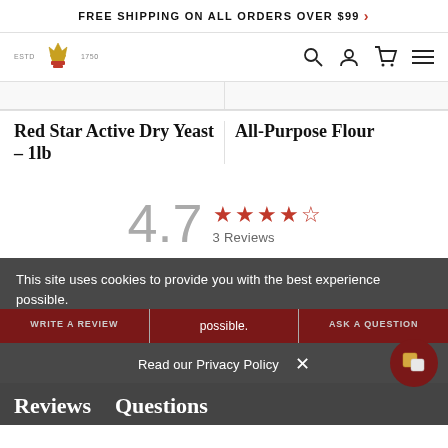FREE SHIPPING ON ALL ORDERS OVER $99 >
[Figure (logo): Brand logo with crown/wheat emblem, ESTD 1750 text, and navigation icons (search, account, cart, menu)]
Red Star Active Dry Yeast – 1lb
All-Purpose Flour
4.7  ★★★★½  3 Reviews
This site uses cookies to provide you with the best experience possible.
WRITE A REVIEW   ASK A QUESTION
Read our Privacy Policy  ×
Reviews   Questions